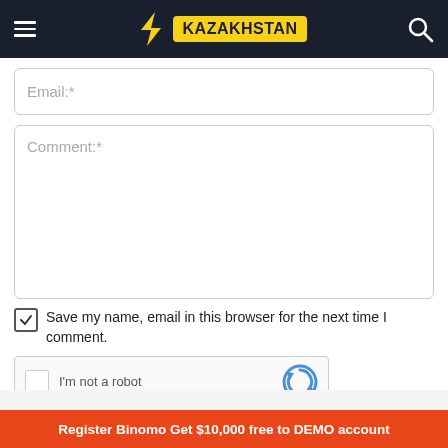KAZAKHSTAN
Email:*
Comment:*
Save my name, email in this browser for the next time I comment.
[Figure (screenshot): reCAPTCHA widget with checkbox and reCAPTCHA logo]
Register Binomo Get $10,000 free to DEMO account